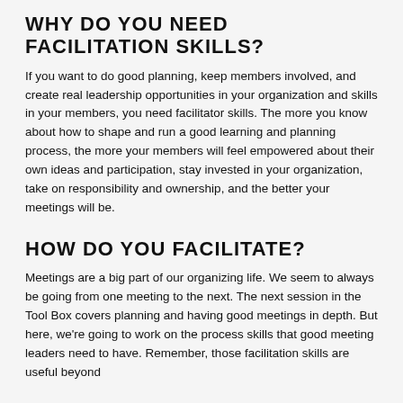WHY DO YOU NEED FACILITATION SKILLS?
If you want to do good planning, keep members involved, and create real leadership opportunities in your organization and skills in your members, you need facilitator skills. The more you know about how to shape and run a good learning and planning process, the more your members will feel empowered about their own ideas and participation, stay invested in your organization, take on responsibility and ownership, and the better your meetings will be.
HOW DO YOU FACILITATE?
Meetings are a big part of our organizing life. We seem to always be going from one meeting to the next. The next session in the Tool Box covers planning and having good meetings in depth. But here, we're going to work on the process skills that good meeting leaders need to have. Remember, those facilitation skills are useful beyond